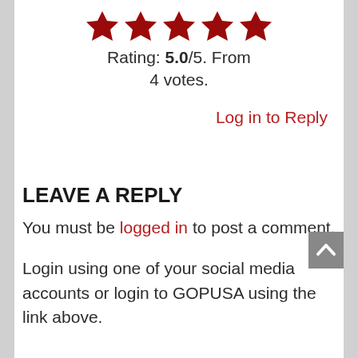[Figure (other): Five red filled star icons displayed in a row representing a 5-star rating]
Rating: 5.0/5. From 4 votes.
Log in to Reply
LEAVE A REPLY
You must be logged in to post a comment.
Login using one of your social media accounts or login to GOPUSA using the link above.